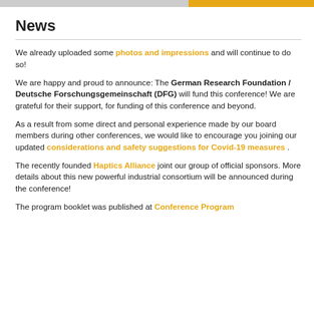[top navigation bar with gray and orange sections]
News
We already uploaded some photos and impressions and will continue to do so!
We are happy and proud to announce: The German Research Foundation / Deutsche Forschungsgemeinschaft (DFG) will fund this conference! We are grateful for their support, for funding of this conference and beyond.
As a result from some direct and personal experience made by our board members during other conferences, we would like to encourage you joining our updated considerations and safety suggestions for Covid-19 measures .
The recently founded Haptics Alliance joint our group of official sponsors. More details about this new powerful industrial consortium will be announced during the conference!
The program booklet was published at Conference Program